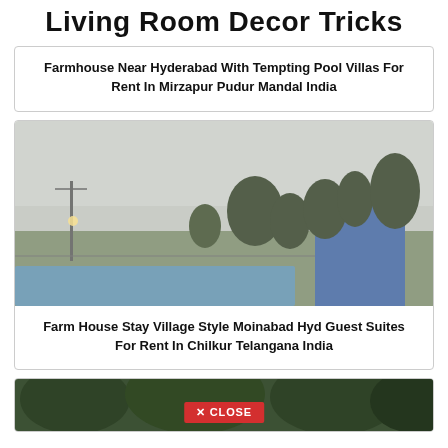Living Room Decor Tricks
Farmhouse Near Hyderabad With Tempting Pool Villas For Rent In Mirzapur Pudur Mandal India
[Figure (photo): Misty outdoor scene of a farmhouse with pool, trees, blue building wall, and foggy sky]
Farm House Stay Village Style Moinabad Hyd Guest Suites For Rent In Chilkur Telangana India
[Figure (photo): Partial bottom view of another farmhouse photo with green trees, with a red CLOSE button overlay]